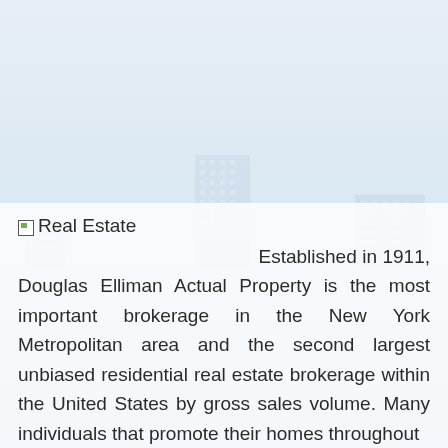[Figure (illustration): City skyline background with light blue gradient sky and faded building silhouettes]
Real Estate   Established in 1911, Douglas Elliman Actual Property is the most important brokerage in the New York Metropolitan area and the second largest unbiased residential real estate brokerage within the United States by gross sales volume. Many individuals that promote their homes throughout